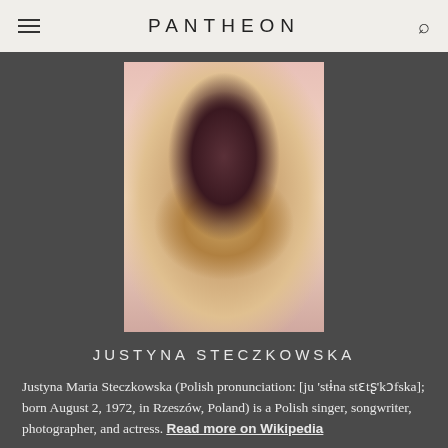PANTHEON
[Figure (photo): Photo of Justyna Steczkowska performing, wearing a sparkly dress and holding a microphone, against a pink background]
JUSTYNA STECZKOWSKA
Justyna Maria Steczkowska (Polish pronunciation: [ju'stɨna stɛtʂ'kɔfska]; born August 2, 1972, in Rzeszów, Poland) is a Polish singer, songwriter, photographer, and actress. Read more on Wikipedia
Since 2007, the English Wikipedia page of Justyna